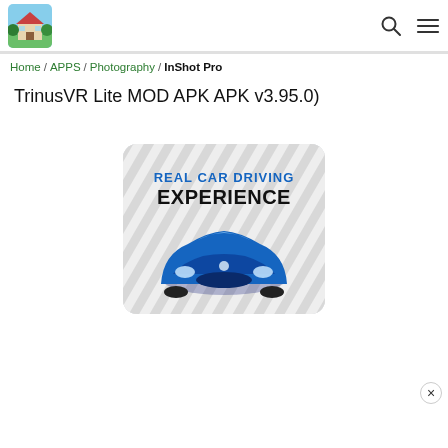[Figure (logo): Website logo: small house with green trees, square icon]
Home / APPS / Photography / InShot Pro
TrinusVR Lite MOD APK APK v3.95.0)
[Figure (screenshot): Advertisement banner: Real Car Driving Experience game, blue sports car front view on striped background]
×